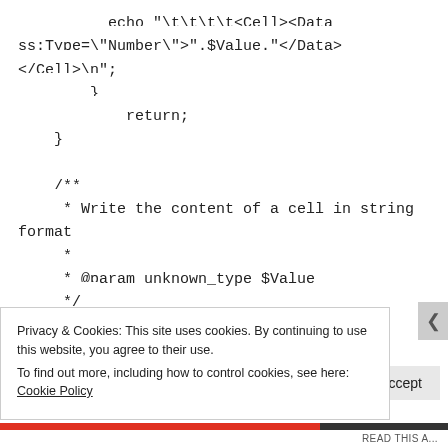echo "\t\t\t\t<Cell><Data ss:Type=\"Number\">.".$Value."</Data></Cell>\n";
        }
            return;
    }

    /**
     * Write the content of a cell in string format
     *
     * @param unknown_type $Value
     */
Privacy & Cookies: This site uses cookies. By continuing to use this website, you agree to their use.
To find out more, including how to control cookies, see here: Cookie Policy
Close and accept